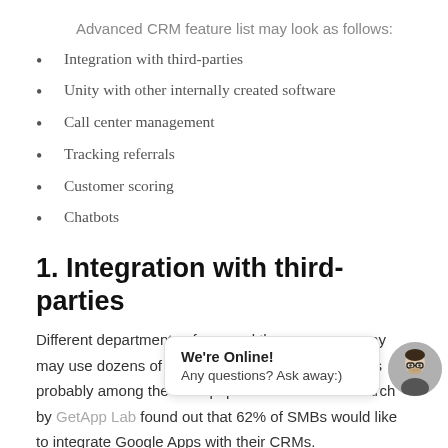Advanced CRM feature list may look as follows:
Integration with third-parties
Unity with other internally created software
Call center management
Tracking referrals
Customer scoring
Chatbots
1. Integration with third-parties
Different departments of one and the same company may use dozens of tools in their workflow. G Suite is probably among the most popular solutions. Research by GetApp Lab found out that 62% of SMBs would like to integrate Google Apps with their CRMs.
Developing a CRM syst... the tools used in the company can fit there. Be they connected with